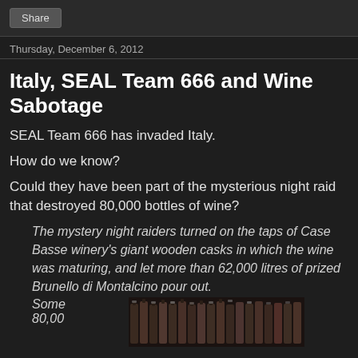Share
Thursday, December 6, 2012
Italy, SEAL Team 666 and Wine Sabotage
SEAL Team 666 has invaded Italy.
How do we know?
Could they have been part of the mysterious night raid that destroyed 80,000 bottles of wine?
The mystery night raiders turned on the taps of Case Basse winery's giant wooden casks in which the wine was maturing, and let more than 62,000 litres of prized Brunello di Montalcino pour out. Some 80,00
[Figure (photo): Row of wine bottles shown from the side in a dark cellar setting]